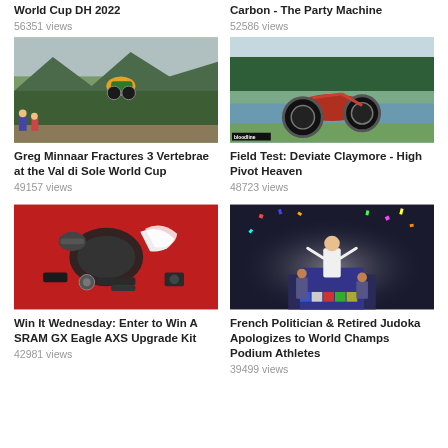World Cup DH 2022
56351 views
Carbon - The Party Machine
52586 views
[Figure (photo): Mountain biker in mid-air jump on a dirt trail with forest and mountains in background, spectators watching]
Greg Minnaar Fractures 3 Vertebrae at the Val di Sole World Cup
49157 views
[Figure (photo): Red and black full-suspension mountain bike parked on green grass beside a lake with trees in background, Bloodline branding]
Field Test: Deviate Claymore - High Pivot Heaven
48723 views
[Figure (photo): SRAM GX Eagle AXS upgrade kit components laid out on red background including derailleur, shifter, and other parts]
Win It Wednesday: Enter to Win A SRAM GX Eagle AXS Upgrade Kit
42981 views
[Figure (photo): A person in white outfit celebrates on a podium at what appears to be a World Championships event with confetti falling]
French Politician & Retired Judoka Apologizes to World Champs Podium Athletes
39499 views